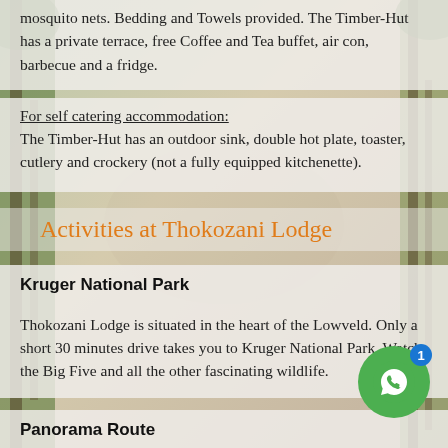mosquito nets. Bedding and Towels provided. The Timber-Hut has a private terrace, free Coffee and Tea buffet, air con, barbecue and a fridge.
For self catering accommodation: The Timber-Hut has an outdoor sink, double hot plate, toaster, cutlery and crockery (not a fully equipped kitchenette).
Activities at Thokozani Lodge
Kruger National Park
Thokozani Lodge is situated in the heart of the Lowveld. Only a short 30 minutes drive takes you to Kruger National Park. Watch the Big Five and all the other fascinating wildlife.
Panorama Route
The Panorama Route offers a kaleidoscope of breathtaking